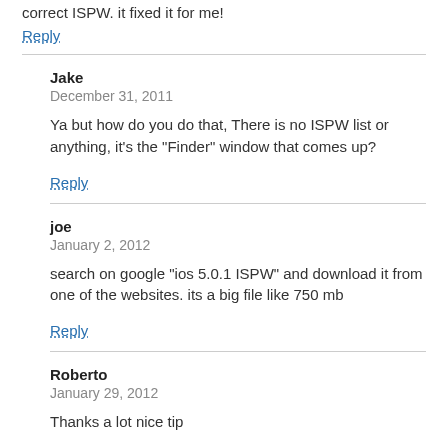correct ISPW. it fixed it for me!
Reply
Jake
December 31, 2011
Ya but how do you do that, There is no ISPW list or anything, it’s the “Finder” window that comes up?
Reply
joe
January 2, 2012
search on google “ios 5.0.1 ISPW” and download it from one of the websites. its a big file like 750 mb
Reply
Roberto
January 29, 2012
Thanks a lot nice tip